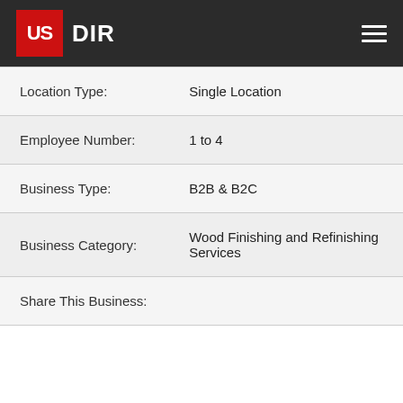US DIR
| Location Type: | Single Location |
| Employee Number: | 1 to 4 |
| Business Type: | B2B & B2C |
| Business Category: | Wood Finishing and Refinishing Services |
| Share This Business: |  |